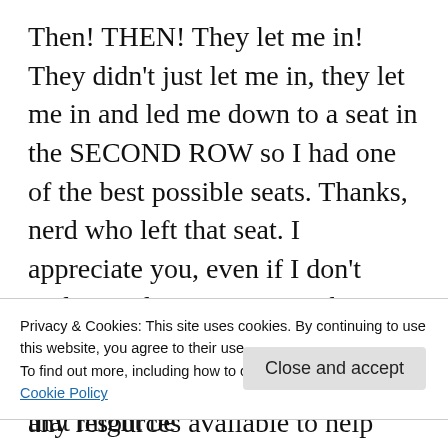Then! THEN! They let me in! They didn't just let me in, they let me in and led me down to a seat in the SECOND ROW so I had one of the best possible seats. Thanks, nerd who left that seat. I appreciate you, even if I don't understand you AT ALL. The panel was great, and I got up to ask a question about if there were any resources available to help students see how looking for exolife was a beautiful interweaving of earth science, life science, chemistry, physics, ethics, and about a
Privacy & Cookies: This site uses cookies. By continuing to use this website, you agree to their use.
To find out more, including how to control cookies, see here:
Cookie Policy
Close and accept
resources available on NASA.gov that might be